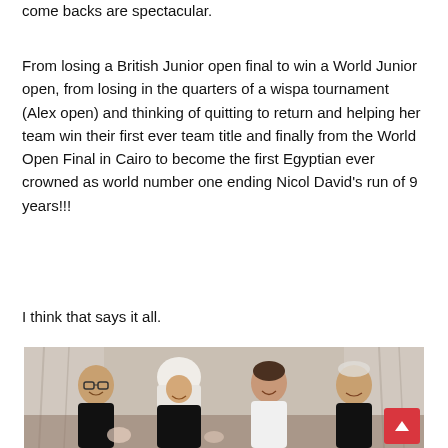come backs are spectacular.
From losing a British Junior open final to win a World Junior open, from losing in the quarters of a wispa tournament (Alex open) and thinking of quitting to return and helping her team win their first ever team title and finally from the World Open Final in Cairo to become the first Egyptian ever crowned as world number one ending Nicol David's run of 9 years!!!
I think that says it all.
[Figure (photo): Group photo of four people smiling, standing together at what appears to be a formal event. Background shows curtains/drapes. A red scroll-to-top button is overlaid in the bottom-right corner.]